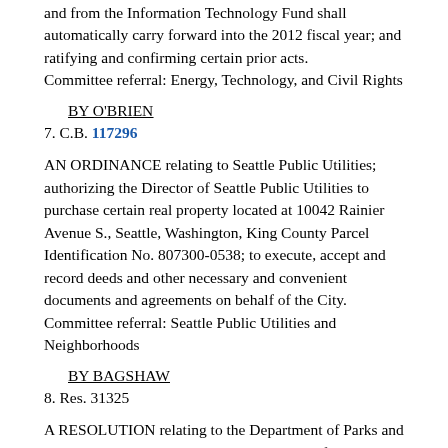and from the Information Technology Fund shall automatically carry forward into the 2012 fiscal year; and ratifying and confirming certain prior acts.
Committee referral: Energy, Technology, and Civil Rights
BY O'BRIEN
7. C.B. 117296
AN ORDINANCE relating to Seattle Public Utilities; authorizing the Director of Seattle Public Utilities to purchase certain real property located at 10042 Rainier Avenue S., Seattle, Washington, King County Parcel Identification No. 807300-0538; to execute, accept and record deeds and other necessary and convenient documents and agreements on behalf of the City.
Committee referral: Seattle Public Utilities and Neighborhoods
BY BAGSHAW
8. Res. 31325
A RESOLUTION relating to the Department of Parks and Recreation; authorizing the Superintendent of Parks and